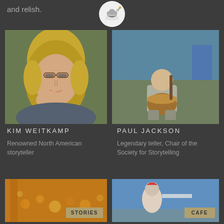and relish.
[Figure (logo): Circular logo with illustrated lamp/genie lamp icon]
[Figure (photo): Portrait of Kim Weitkamp, a blonde woman with glasses resting her chin on her hand]
[Figure (photo): Photo of Paul Jackson sitting against a mural wall holding a drum instrument]
KIM WEITKAMP
Renowned North American storyteller
PAUL JACKSON
Legendary teller, Chair of the Society for Storytelling
[Figure (photo): Photo of warm bokeh lights on orange/amber background with STORIES button overlay]
[Figure (photo): Photo of outdoor scene with person in costume, blue sky, with CAFE button overlay]